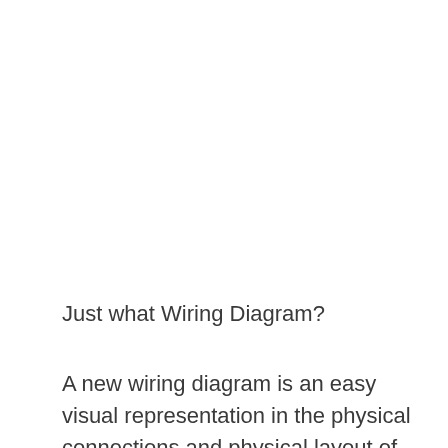Just what Wiring Diagram?
A new wiring diagram is an easy visual representation in the physical connections and physical layout of your electrical system